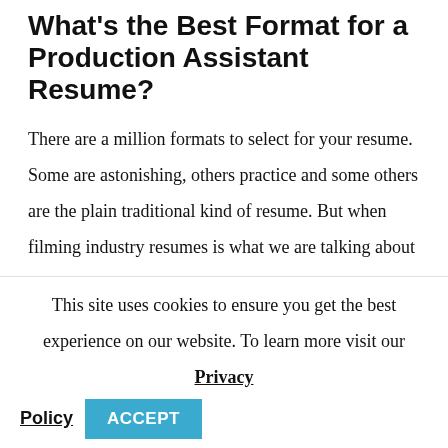What’s the Best Format for a Production Assistant Resume?
There are a million formats to select for your resume. Some are astonishing, others practice and some others are the plain traditional kind of resume. But when filming industry resumes is what we are talking about
From all this myriad of options there is a well-
This site uses cookies to ensure you get the best experience on our website. To learn more visit our Privacy Policy